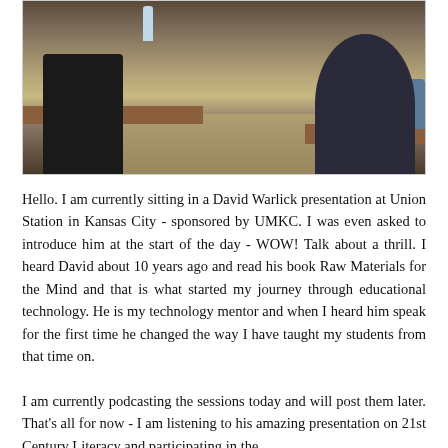[Figure (photo): Photo of people sitting in a conference/presentation room at Union Station in Kansas City. A person in dark clothing is visible on the left side, and a blue chair with a person's arm visible is on the right. Tables, a water bottle, and carpeted floor are visible.]
Hello. I am currently sitting in a David Warlick presentation at Union Station in Kansas City - sponsored by UMKC. I was even asked to introduce him at the start of the day - WOW! Talk about a thrill. I heard David about 10 years ago and read his book Raw Materials for the Mind and that is what started my journey through educational technology. He is my technology mentor and when I heard him speak for the first time he changed the way I have taught my students from that time on.
I am currently podcasting the sessions today and will post them later. That's all for now - I am listening to his amazing presentation on 21st Century Literacy and participating in the